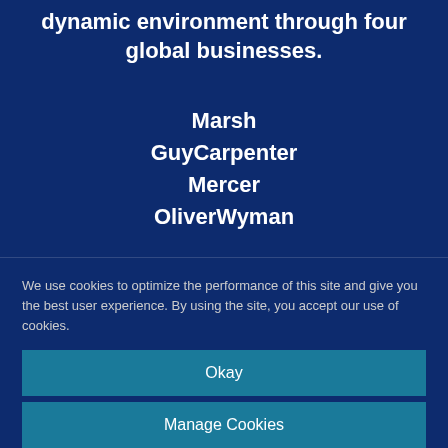dynamic environment through four global businesses.
Marsh
GuyCarpenter
Mercer
OliverWyman
[Figure (infographic): Four social media icons in white circles: Facebook, Twitter, YouTube, LinkedIn]
We use cookies to optimize the performance of this site and give you the best user experience. By using the site, you accept our use of cookies.
Okay
Manage Cookies